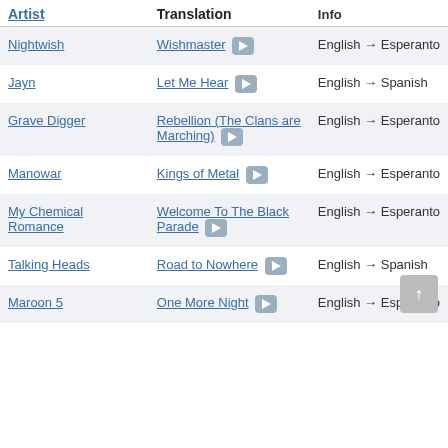| Artist | Translation | Info |
| --- | --- | --- |
| Nightwish | Wishmaster ▶ | English → Esperanto |
| Jayn | Let Me Hear ▶ | English → Spanish |
| Grave Digger | Rebellion (The Clans are Marching) ▶ | English → Esperanto |
| Manowar | Kings of Metal ▶ | English → Esperanto |
| My Chemical Romance | Welcome To The Black Parade ▶ | English → Esperanto |
| Talking Heads | Road to Nowhere ▶ | English → Spanish |
| Maroon 5 | One More Night ▶ | English → Esperanto |